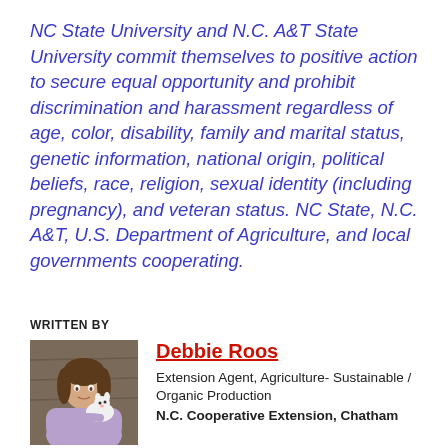NC State University and N.C. A&T State University commit themselves to positive action to secure equal opportunity and prohibit discrimination and harassment regardless of age, color, disability, family and marital status, genetic information, national origin, political beliefs, race, religion, sexual identity (including pregnancy), and veteran status. NC State, N.C. A&T, U.S. Department of Agriculture, and local governments cooperating.
WRITTEN BY
[Figure (photo): Photo of Debbie Roos, a woman holding a small animal, with a rustic wooden background.]
Debbie Roos
Extension Agent, Agriculture- Sustainable / Organic Production
N.C. Cooperative Extension, Chatham